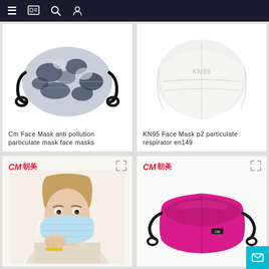Navigation bar with menu, catalog, search, and account icons
[Figure (photo): Camouflage pattern face mask with black ear loops, top portion cropped]
[Figure (photo): White KN95 / P2 particulate respirator mask, top portion cropped]
Cm Face Mask anti pollution particulate mask face masks
KN95 Face Mask p2 particulate respirator en149
[Figure (photo): Woman wearing light blue disposable surgical face mask, holding mask with hand, CM 朝美 logo in top-left]
[Figure (photo): Magenta/hot pink fabric face mask with black ear loops, CM 朝美 logo in top-left]